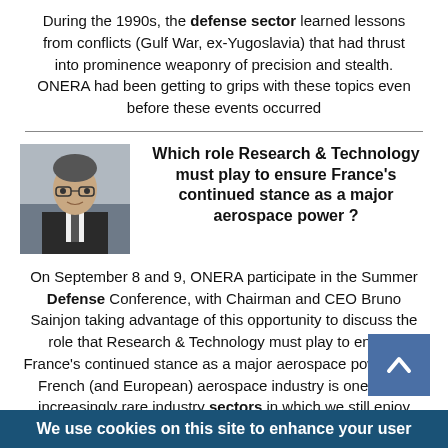During the 1990s, the defense sector learned lessons from conflicts (Gulf War, ex-Yugoslavia) that had thrust into prominence weaponry of precision and stealth. ONERA had been getting to grips with these topics even before these events occurred
[Figure (photo): Portrait photo of a man in dark suit and tie]
Which role Research & Technology must play to ensure France's continued stance as a major aerospace power ?
On September 8 and 9, ONERA participate in the Summer Defense Conference, with Chairman and CEO Bruno Sainjon taking advantage of this opportunity to discuss the role that Research & Technology must play to ensure France's continued stance as a major aerospace power. The French (and European) aerospace industry is one of the increasingly rare industry sectors in which we still enjoy global status, with all that entails in terms of scientific, technological, industrial, economic
We use cookies on this site to enhance your user